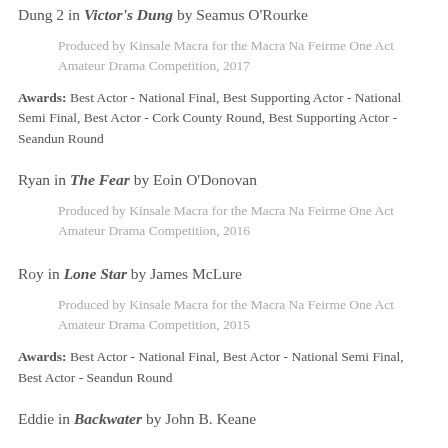Dung 2 in Victor's Dung by Seamus O'Rourke
Produced by Kinsale Macra for the Macra Na Feirme One Act Amateur Drama Competition, 2017
Awards: Best Actor - National Final, Best Supporting Actor - National Semi Final, Best Actor - Cork County Round, Best Supporting Actor - Seandun Round
Ryan in The Fear by Eoin O'Donovan
Produced by Kinsale Macra for the Macra Na Feirme One Act Amateur Drama Competition, 2016
Roy in Lone Star by James McLure
Produced by Kinsale Macra for the Macra Na Feirme One Act Amateur Drama Competition, 2015
Awards: Best Actor - National Final, Best Actor - National Semi Final, Best Actor - Seandun Round
Eddie in Backwater by John B. Keane